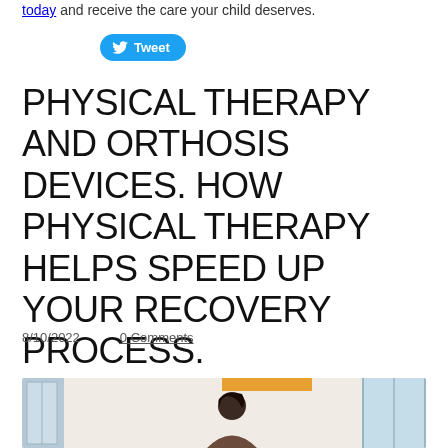today and receive the care your child deserves.
[Figure (other): Twitter Tweet button with bird icon]
PHYSICAL THERAPY AND ORTHOSIS DEVICES. HOW PHYSICAL THERAPY HELPS SPEED UP YOUR RECOVERY PROCESS.
8/10/2022    0 Comments
[Figure (photo): Photo of a person in a physical therapy clinic setting with windows and an orange ceiling element visible in the background]